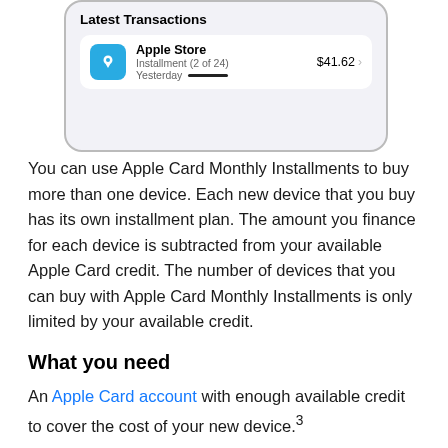[Figure (screenshot): iPhone screenshot showing 'Latest Transactions' section with Apple Store entry: Installment (2 of 24), Yesterday, $41.62]
You can use Apple Card Monthly Installments to buy more than one device. Each new device that you buy has its own installment plan. The amount you finance for each device is subtracted from your available Apple Card credit. The number of devices that you can buy with Apple Card Monthly Installments is only limited by your available credit.
What you need
An Apple Card account with enough available credit to cover the cost of your new device.³